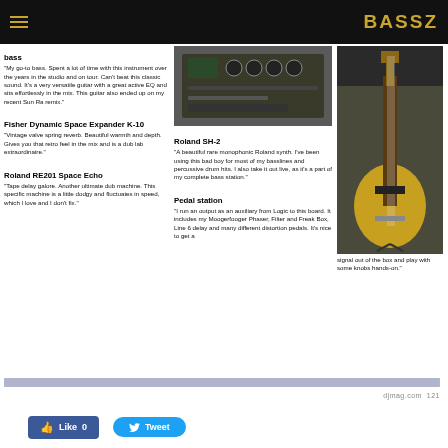BASSZ
bass
"My go-to bass. Spent a lot of time with this instrument over the years in the studio and on tour. Can't beat this classic sound. It's a very versatile guitar with a great active EQ and sits effortlessly in the mix. This guitar also ended up on my recent Sun Ra remix."
[Figure (photo): Photo of a Roland amplifier/rackmount unit with knobs and controls]
Roland SH-2
"A beautiful rare monophonic Roland synth. I've been using this bad boy for most of my basslines and percussive drum hits. I also take it out live, as it's a part of my complete bass station."
Fisher Dynamic Space Expander K-10
"Vintage valve spring reverb. Beautiful warmth and depth. Gives you that retro feel in the mix and is a dub lab extraordinaire."
Roland RE201 Space Echo
"Tape delay galore. Another ultimate dub machine. This specific machine is a little dodgy and fluctuates in speed, which I love and I don't fix."
Pedal station
"I run an output as an auxiliary from Logic to this board. It includes my Moogerfooger Phaser, Filter and Freak Box, Line 6 delay and many different distortion pedals. It's nice to get a signal out of the box and play with some knobs hands-on."
[Figure (photo): Photo of a yellow/natural bass guitar on a stand]
djmag.com  121